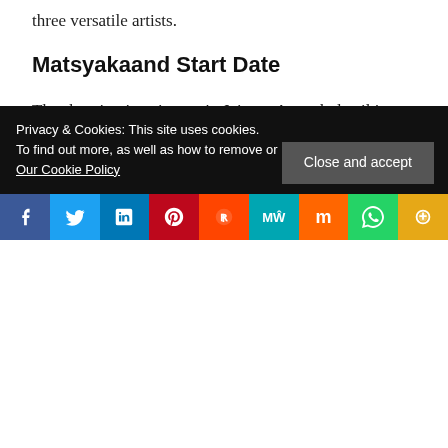three versatile artists.
Matsyakaand Start Date
The shooting is going on in Jaipur.  A much detail is not revealed till now.  Stay tuned with us to get the latest updates.
Web Series
< 'Qayamat Ki Raat' Wiki, Cast, Story, Timings,
Privacy & Cookies: This site uses cookies.
To find out more, as well as how to remove or block these, see here:
Our Cookie Policy
Close and accept